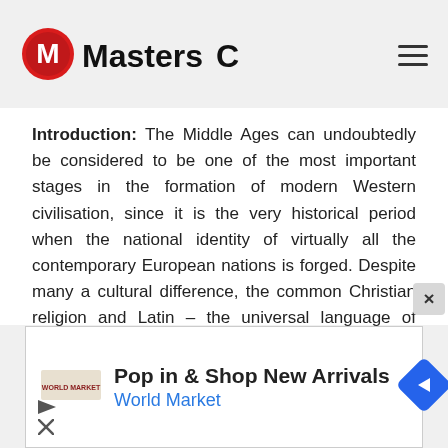MastersChamps
Introduction: The Middle Ages can undoubtedly be considered to be one of the most important stages in the formation of modern Western civilisation, since it is the very historical period when the national identity of virtually all the contemporary European nations is forged. Despite many a cultural difference, the common Christian religion and Latin – the universal language of education – created a fertile ground for the emergence of an extraordinarily rich literature (both
[Figure (infographic): Advertisement banner: Pop in & Shop New Arrivals – World Market, with World Market logo and navigation arrow icon, plus play and close controls]